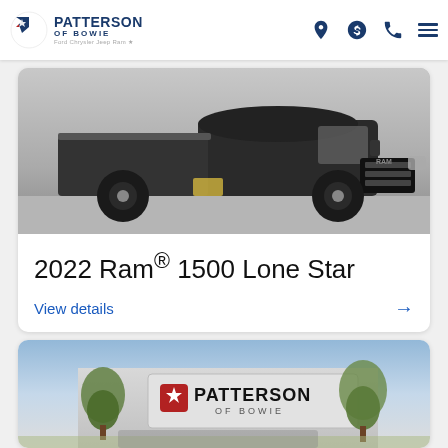[Figure (logo): Patterson of Bowie dealership logo with American flag icon and brand names]
[Figure (photo): 2022 Ram 1500 Lone Star black pickup truck parked in a lot]
2022 Ram® 1500 Lone Star
View details →
[Figure (photo): Patterson of Bowie dealership building exterior with signage and trees, truck partially visible in foreground]